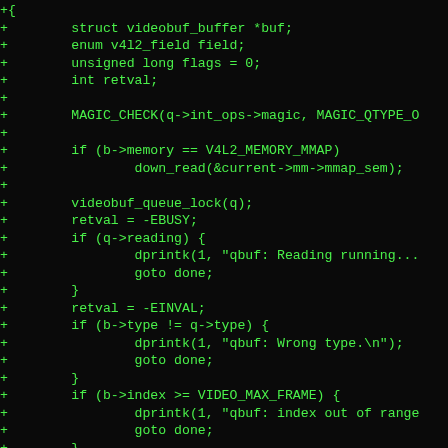[Figure (screenshot): Source code diff screenshot showing C code with green text on black background. Lines prefixed with '+' showing additions to a videobuf queue buffer function including struct declarations, MAGIC_CHECK, memory map check, queue lock, reading check with dprintk, type check with dprintk, index range check with dprintk, and buffer null check with dprintk.]